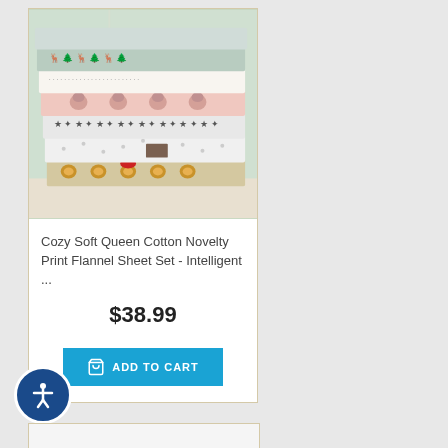[Figure (photo): Stack of folded flannel sheet sets with various novelty prints including foxes, stars, bears, and forest animals in pink, white, green, and grey colors, photographed against a bright window background.]
Cozy Soft Queen Cotton Novelty Print Flannel Sheet Set - Intelligent ...
$38.99
ADD TO CART